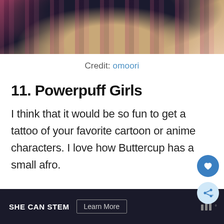[Figure (photo): Top portion of a person showing a tattoo, with dark and pink/purple braided hair visible, and a geometric tattoo on the arm/body area. Dark clothing visible.]
Credit: omoori
11. Powerpuff Girls
I think that it would be so fun to get a tattoo of your favorite cartoon or anime characters. I love how Buttercup has a small afro.
[Figure (other): SHE CAN STEM advertisement banner with Learn More button and W logo at bottom of page]